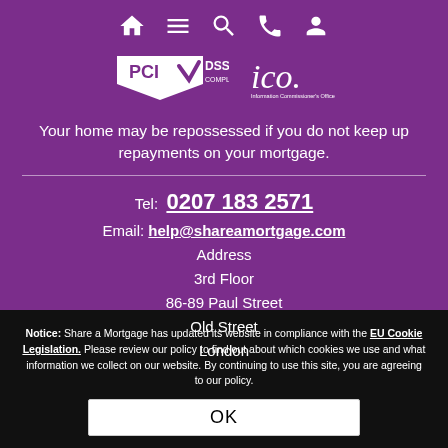[Figure (screenshot): Navigation icons: home, menu, search, phone, account (white icons on purple background)]
[Figure (logo): PCI DSS Compliant badge and ICO (Information Commissioner's Office) logo side by side on purple background]
Your home may be repossessed if you do not keep up repayments on your mortgage.
Tel:  0207 183 2571
Email: help@shareamortgage.com
Address
3rd Floor
86-89 Paul Street
Old Street
London
Notice: Share a Mortgage has updated its website in compliance with the EU Cookie Legislation. Please review our policy to find out about which cookies we use and what information we collect on our website. By continuing to use this site, you are agreeing to our policy.
OK